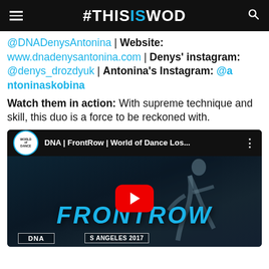#THISISWOD
@DNADenysAntonina | Website: www.dnadenysantonina.com | Denys' instagram: @denys_drozdyuk | Antonina's Instagram: @antoninaskobina
Watch them in action: With supreme technique and skill, this duo is a force to be reckoned with.
[Figure (screenshot): YouTube video thumbnail for 'DNA | FrontRow | World of Dance Los...' showing the word FRONTROW in cyan and a dancer silhouette, with a red YouTube play button, and labels reading DNA and LOS ANGELES 2017 at the bottom.]